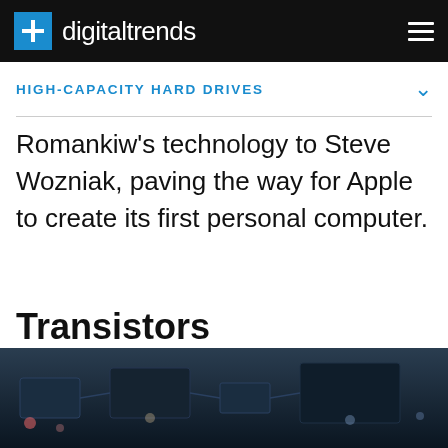digitaltrends
HIGH-CAPACITY HARD DRIVES
Romankiw's technology to Steve Wozniak, paving the way for Apple to create its first personal computer.
Transistors
[Figure (photo): Close-up photo of a circuit board with electronic components, dark blue toned image]